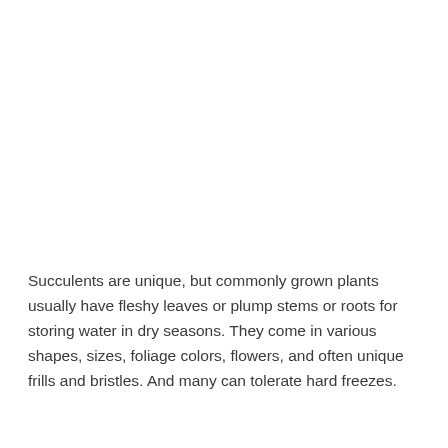Succulents are unique, but commonly grown plants usually have fleshy leaves or plump stems or roots for storing water in dry seasons. They come in various shapes, sizes, foliage colors, flowers, and often unique frills and bristles. And many can tolerate hard freezes.